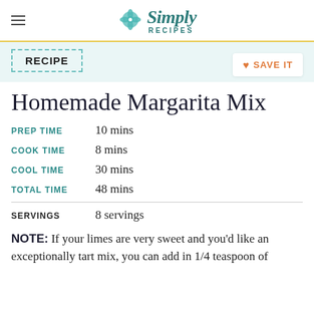Simply Recipes
RECIPE
Homemade Margarita Mix
| PREP TIME | 10 mins |
| COOK TIME | 8 mins |
| COOL TIME | 30 mins |
| TOTAL TIME | 48 mins |
| SERVINGS | 8 servings |
NOTE: If your limes are very sweet and you'd like an exceptionally tart mix, you can add in 1/4 teaspoon of